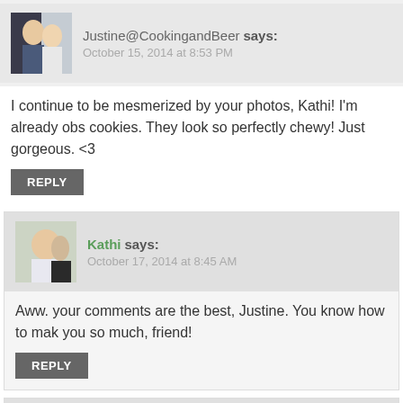[Figure (photo): Avatar photo of Justine@CookingandBeer]
Justine@CookingandBeer says:
October 15, 2014 at 8:53 PM
I continue to be mesmerized by your photos, Kathi! I'm already obs cookies. They look so perfectly chewy! Just gorgeous. <3
REPLY
[Figure (photo): Avatar photo of Kathi]
Kathi says:
October 17, 2014 at 8:45 AM
Aww. your comments are the best, Justine. You know how to make you so much, friend!
REPLY
[Figure (photo): Avatar photo of Jessica @ Sweet Menu]
Jessica @ Sweet Menu says:
October 15, 2014 at 8:53 PM
Incredible, they have that lovely crinkly top like a brownie and oh